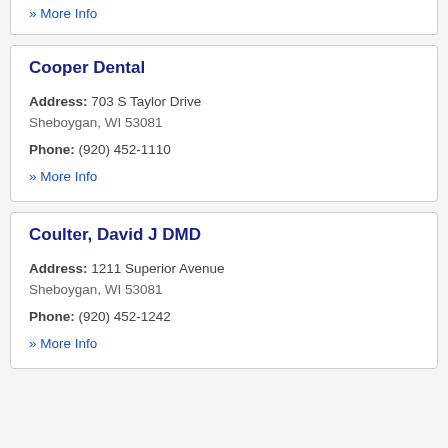» More Info
Cooper Dental
Address: 703 S Taylor Drive Sheboygan, WI 53081
Phone: (920) 452-1110
» More Info
Coulter, David J DMD
Address: 1211 Superior Avenue Sheboygan, WI 53081
Phone: (920) 452-1242
» More Info